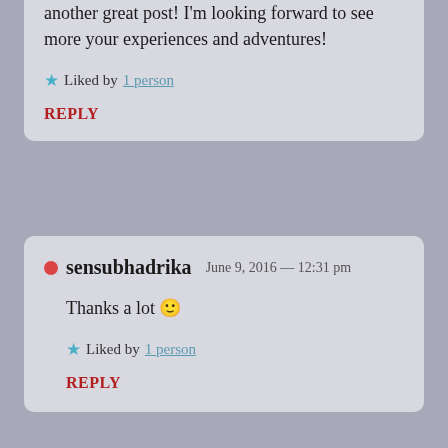another great post! I'm looking forward to see more your experiences and adventures!
Liked by 1 person
REPLY
sensubhadrika  June 9, 2016 — 12:31 pm
Thanks a lot 🙂
Liked by 1 person
REPLY